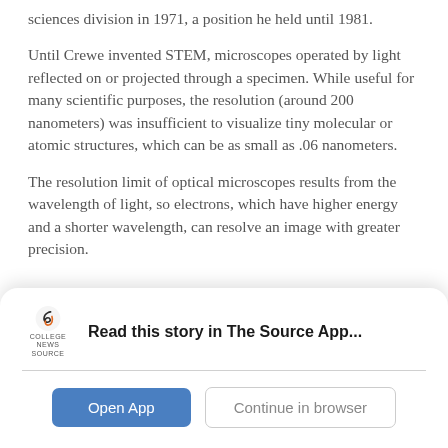sciences division in 1971, a position he held until 1981.
Until Crewe invented STEM, microscopes operated by light reflected on or projected through a specimen. While useful for many scientific purposes, the resolution (around 200 nanometers) was insufficient to visualize tiny molecular or atomic structures, which can be as small as .06 nanometers.
The resolution limit of optical microscopes results from the wavelength of light, so electrons, which have higher energy and a shorter wavelength, can resolve an image with greater precision.
[Figure (logo): College News Source logo — spiral 'S' icon above text 'COLLEGE NEWS SOURCE']
Read this story in The Source App...
Open App
Continue in browser